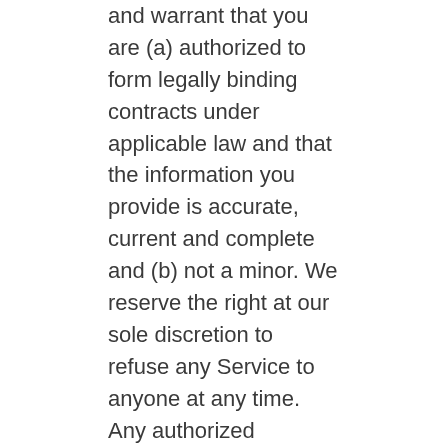and warrant that you are (a) authorized to form legally binding contracts under applicable law and that the information you provide is accurate, current and complete and (b) not a minor. We reserve the right at our sole discretion to refuse any Service to anyone at any time. Any authorized additional recipients of materials from the Site are also subject to this Agreement. You agree to take full responsibility for any additional recipients for agreeing to and following these Terms and Conditions.
2. Content
We also reserve the right to restrict your access to parts or all of the Site or any Service without notice or liability. You understand that all information you provide will be maintained by Coley as confidential according to the terms